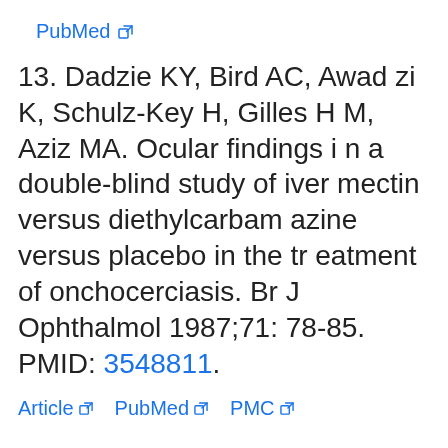PubMed [external link]
13. Dadzie KY, Bird AC, Awadzi K, Schulz-Key H, Gilles HM, Aziz MA. Ocular findings in a double-blind study of ivermectin versus diethylcarbamazine versus placebo in the treatment of onchocerciasis. Br J Ophthalmol 1987;71: 78-85. PMID: 3548811.
Article [external link]   PubMed [external link]   PMC [external link]